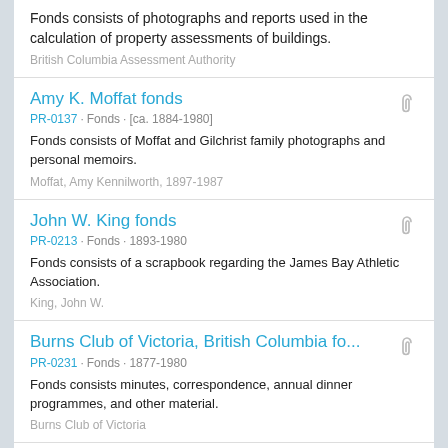Fonds consists of photographs and reports used in the calculation of property assessments of buildings.
British Columbia Assessment Authority
Amy K. Moffat fonds
PR-0137 · Fonds · [ca. 1884-1980]
Fonds consists of Moffat and Gilchrist family photographs and personal memoirs.
Moffat, Amy Kennilworth, 1897-1987
John W. King fonds
PR-0213 · Fonds · 1893-1980
Fonds consists of a scrapbook regarding the James Bay Athletic Association.
King, John W.
Burns Club of Victoria, British Columbia fo...
PR-0231 · Fonds · 1877-1980
Fonds consists minutes, correspondence, annual dinner programmes, and other material.
Burns Club of Victoria
...